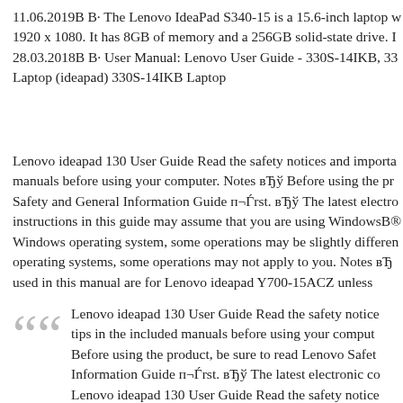11.06.2019В В· The Lenovo IdeaPad S340-15 is a 15.6-inch laptop w 1920 x 1080. It has 8GB of memory and a 256GB solid-state drive. I 28.03.2018В В· User Manual: Lenovo User Guide - 330S-14IKB, 33 Laptop (ideapad) 330S-14IKB Laptop
Lenovo ideapad 130 User Guide Read the safety notices and importa manuals before using your computer. Notes вЂў Before using the pr Safety and General Information Guide п¬Ѓrst. вЂў The latest electro instructions in this guide may assume that you are using WindowsВ® Windows operating system, some operations may be slightly differen operating systems, some operations may not apply to you. Notes вЂ used in this manual are for Lenovo ideapad Y700-15ACZ unless
Lenovo ideapad 130 User Guide Read the safety notice tips in the included manuals before using your comput Before using the product, be sure to read Lenovo Safet Information Guide п¬Ѓrst. вЂў The latest electronic co Lenovo ideapad 130 User Guide Read the safety notice tips in the included manuals before using your comput